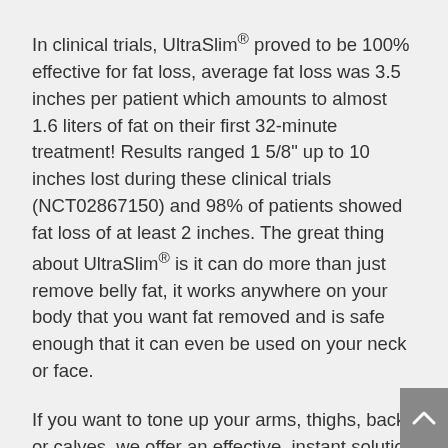In clinical trials, UltraSlim® proved to be 100% effective for fat loss, average fat loss was 3.5 inches per patient which amounts to almost 1.6 liters of fat on their first 32-minute treatment! Results ranged 1 5/8″ up to 10 inches lost during these clinical trials (NCT02867150) and 98% of patients showed fat loss of at least 2 inches. The great thing about UltraSlim® is it can do more than just remove belly fat, it works anywhere on your body that you want fat removed and is safe enough that it can even be used on your neck or face.
If you want to tone up your arms, thighs, back, or calves, we offer an effective, instant solution for you. UltraSlim® can even be used for a non-invasive breast reduction. Unlike some other body contouring options, UltraSlim® does not kill fat cells, it works by opening up pores in your fat cells allowing as much as 2/3 of the fat in each cell to drain.